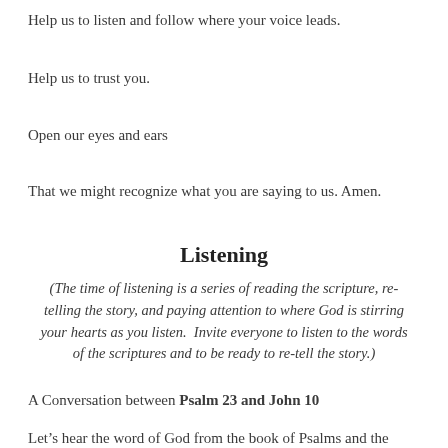Help us to listen and follow where your voice leads.
Help us to trust you.
Open our eyes and ears
That we might recognize what you are saying to us. Amen.
Listening
(The time of listening is a series of reading the scripture, re-telling the story, and paying attention to where God is stirring your hearts as you listen.  Invite everyone to listen to the words of the scriptures and to be ready to re-tell the story.)
A Conversation between Psalm 23 and John 10
Let’s hear the word of God from the book of Psalms and the